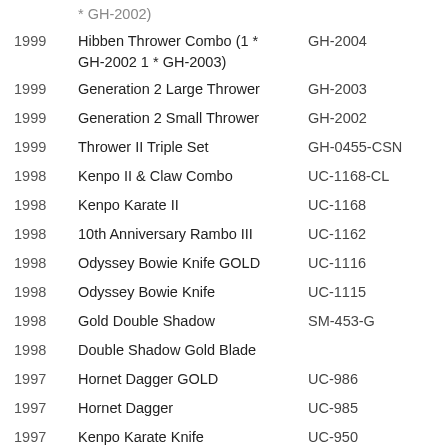| Year | Name | Code |
| --- | --- | --- |
|  | * GH-2002) |  |
| 1999 | Hibben Thrower Combo (1 * GH-2002 1 * GH-2003) | GH-2004 |
| 1999 | Generation 2 Large Thrower | GH-2003 |
| 1999 | Generation 2 Small Thrower | GH-2002 |
| 1999 | Thrower II Triple Set | GH-0455-CSN |
| 1998 | Kenpo II & Claw Combo | UC-1168-CL |
| 1998 | Kenpo Karate II | UC-1168 |
| 1998 | 10th Anniversary Rambo III | UC-1162 |
| 1998 | Odyssey Bowie Knife GOLD | UC-1116 |
| 1998 | Odyssey Bowie Knife | UC-1115 |
| 1998 | Gold Double Shadow | SM-453-G |
| 1998 | Double Shadow Gold Blade |  |
| 1997 | Hornet Dagger GOLD | UC-986 |
| 1997 | Hornet Dagger | UC-985 |
| 1997 | Kenpo Karate Knife | UC-950 |
| 1997 | Pro Folder | UC-945 |
| 1997 | Hornet Sword | UC-1000 |